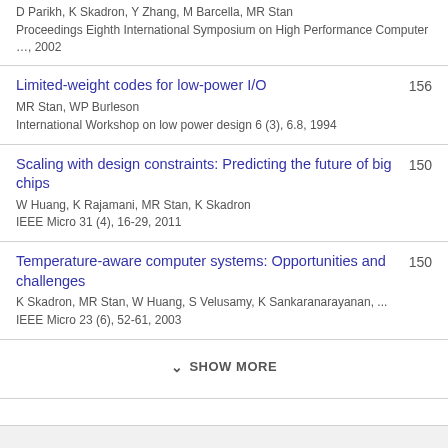D Parikh, K Skadron, Y Zhang, M Barcella, MR Stan
Proceedings Eighth International Symposium on High Performance Computer …, 2002
Limited-weight codes for low-power I/O — 156
MR Stan, WP Burleson
International Workshop on low power design 6 (3), 6.8, 1994
Scaling with design constraints: Predicting the future of big chips — 150
W Huang, K Rajamani, MR Stan, K Skadron
IEEE Micro 31 (4), 16-29, 2011
Temperature-aware computer systems: Opportunities and challenges — 150
K Skadron, MR Stan, W Huang, S Velusamy, K Sankaranarayanan, ...
IEEE Micro 23 (6), 52-61, 2003
SHOW MORE